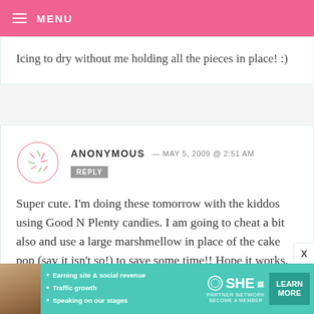MENU
Icing to dry without me holding all the pieces in place! :)
ANONYMOUS — MAY 5, 2009 @ 2:51 AM REPLY
Super cute. I'm doing these tomorrow with the kiddos using Good N Plenty candies. I am going to cheat a bit also and use a large marshmellow in place of the cake pop (say it isn't so!) to save some time!! Hope it works.
[Figure (infographic): SHE Partner Network advertisement banner with bullet points: Earning site & social revenue, Traffic growth, Speaking on our stages. LEARN MORE button.]